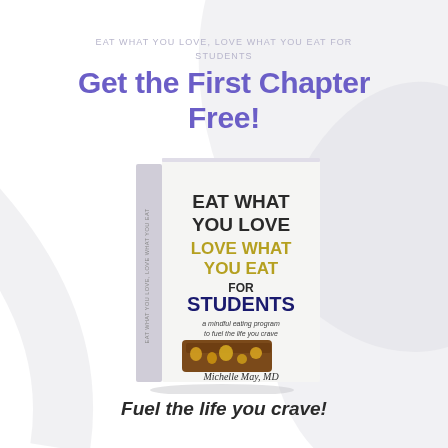EAT WHAT YOU LOVE, LOVE WHAT YOU EAT FOR STUDENTS
Get the First Chapter Free!
[Figure (photo): Book cover of 'Eat What You Love, Love What You Eat for Students' by Michelle May, MD, showing a chocolate candy bar on the cover with the subtitle 'a mindful eating program to fuel the life you crave']
Fuel the life you crave!